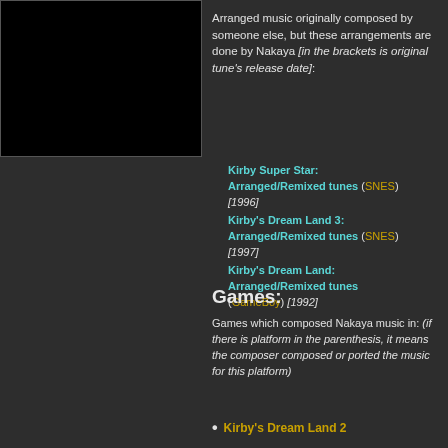[Figure (photo): Black rectangle image placeholder]
Arranged music originally composed by someone else, but these arrangements are done by Nakaya [in the brackets is original tune's release date]:
Kirby Super Star: Arranged/Remixed tunes (SNES) [1996]
Kirby's Dream Land 3: Arranged/Remixed tunes (SNES) [1997]
Kirby's Dream Land: Arranged/Remixed tunes (GameBoy) [1992]
Games:
Games which composed Nakaya music in: (if there is platform in the parenthesis, it means the composer composed or ported the music for this platform)
Kirby's Dream Land 2